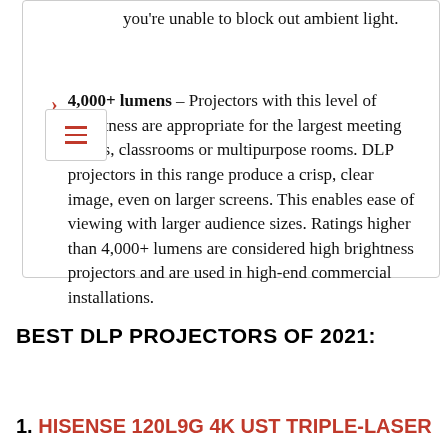you're unable to block out ambient light.
4,000+ lumens – Projectors with this level of brightness are appropriate for the largest meeting rooms, classrooms or multipurpose rooms. DLP projectors in this range produce a crisp, clear image, even on larger screens. This enables ease of viewing with larger audience sizes. Ratings higher than 4,000+ lumens are considered high brightness projectors and are used in high-end commercial installations.
BEST DLP PROJECTORS OF 2021:
1. HISENSE 120L9G 4K UST TRIPLE-LASER